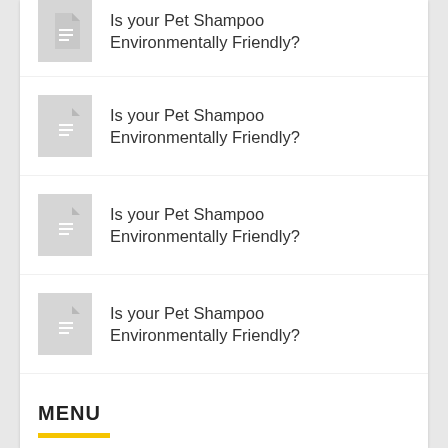Is your Pet Shampoo Environmentally Friendly?
Is your Pet Shampoo Environmentally Friendly?
Is your Pet Shampoo Environmentally Friendly?
Is your Pet Shampoo Environmentally Friendly?
MENU